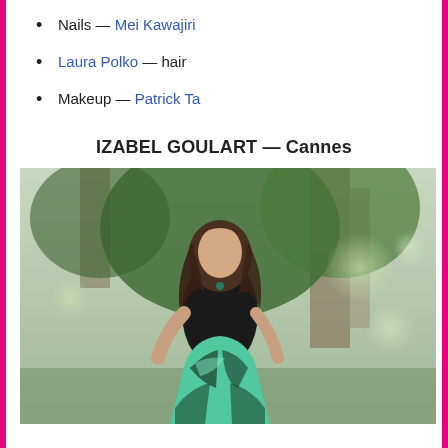Nails — Mei Kawajiri
Laura Polko — hair
Makeup — Patrick Ta
IZABEL GOULART — Cannes
[Figure (photo): Izabel Goulart posing outdoors at Cannes, wearing a black strapless top and a green and black patterned sequin skirt, with trees in the background.]